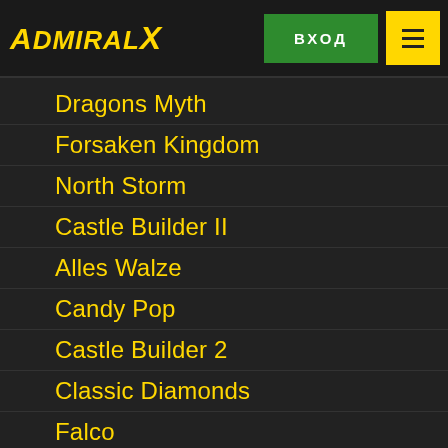AdmiralX | ВХОД | menu
Dragons Myth
Forsaken Kingdom
North Storm
Castle Builder II
Alles Walze
Candy Pop
Castle Builder 2
Classic Diamonds
Falco
Golden Nut